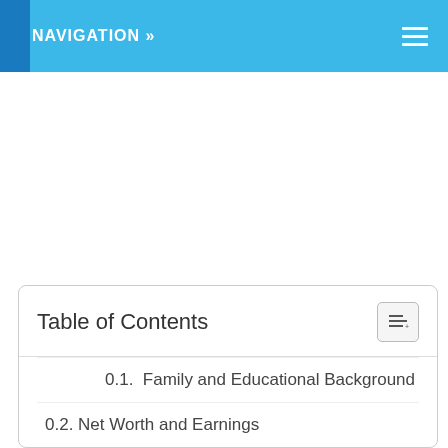NAVIGATION »
Table of Contents
0.1.  Family and Educational Background
0.2. Net Worth and Earnings